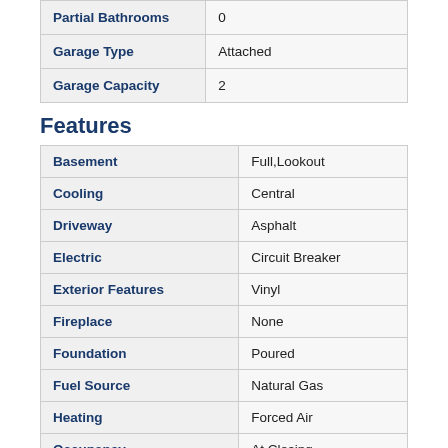| Property | Value |
| --- | --- |
| Partial Bathrooms | 0 |
| Garage Type | Attached |
| Garage Capacity | 2 |
Features
| Feature | Value |
| --- | --- |
| Basement | Full,Lookout |
| Cooling | Central |
| Driveway | Asphalt |
| Electric | Circuit Breaker |
| Exterior Features | Vinyl |
| Fireplace | None |
| Foundation | Poured |
| Fuel Source | Natural Gas |
| Heating | Forced Air |
| Occupancy | At Closing |